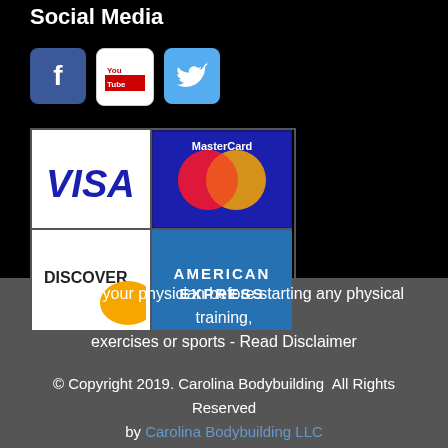Social Media
[Figure (illustration): Social media icons: Facebook (blue f), YouTube (red play button), Twitter (blue bird)]
[Figure (illustration): Payment method logos: VISA, MasterCard, Discover, American Express]
Consult your physician before starting any physical training, exercises or sports - Read Disclaimer
© Copyright 2019. Carolina Bodybuilding  All Rights Reserved by Carolina Bodybuilding LLC